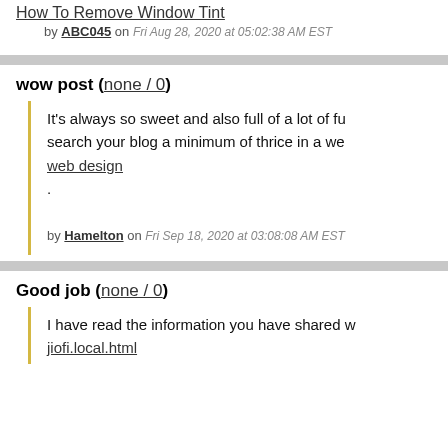How To Remove Window Tint
by ABC045 on Fri Aug 28, 2020 at 05:02:38 AM EST
wow post (none / 0)
It's always so sweet and also full of a lot of fun... search your blog a minimum of thrice in a we...
web design
.
by Hamelton on Fri Sep 18, 2020 at 03:08:08 AM EST
Good job (none / 0)
I have read the information you have shared w...
jiofi.local.html